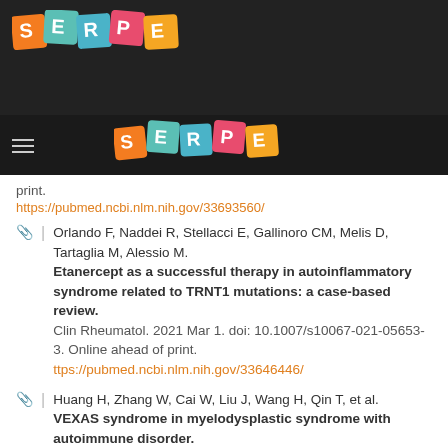[Figure (logo): SERPE logo with colorful letter tiles on dark background header]
[Figure (logo): SERPE logo with colorful letter tiles on dark navigation bar]
print.
https://pubmed.ncbi.nlm.nih.gov/33693560/
Orlando F, Naddei R, Stellacci E, Gallinoro CM, Melis D, Tartaglia M, Alessio M. Etanercept as a successful therapy in autoinflammatory syndrome related to TRNT1 mutations: a case-based review. Clin Rheumatol. 2021 Mar 1. doi: 10.1007/s10067-021-05653-3. Online ahead of print. ttps://pubmed.ncbi.nlm.nih.gov/33646446/
Huang H, Zhang W, Cai W, Liu J, Wang H, Qin T, et al. VEXAS syndrome in myelodysplastic syndrome with autoimmune disorder. Exp Hematol Oncol. 2021 Mar 19;10(1):23. doi: